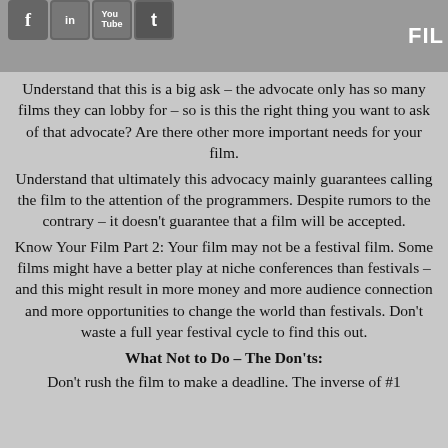FIL
Understand that this is a big ask – the advocate only has so many films they can lobby for – so is this the right thing you want to ask of that advocate? Are there other more important needs for your film. Understand that ultimately this advocacy mainly guarantees calling the film to the attention of the programmers. Despite rumors to the contrary – it doesn't guarantee that a film will be accepted. Know Your Film Part 2: Your film may not be a festival film. Some films might have a better play at niche conferences than festivals – and this might result in more money and more audience connection and more opportunities to change the world than festivals. Don't waste a full year festival cycle to find this out.
What Not to Do – The Don'ts:
Don't rush the film to make a deadline. The inverse of #1